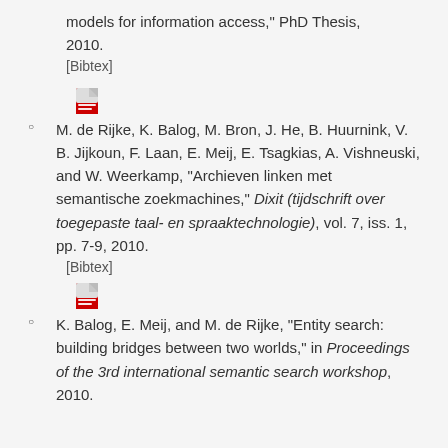models for information access," PhD Thesis, 2010.
[Bibtex]
M. de Rijke, K. Balog, M. Bron, J. He, B. Huurnink, V. B. Jijkoun, F. Laan, E. Meij, E. Tsagkias, A. Vishneuski, and W. Weerkamp, "Archieven linken met semantische zoekmachines," Dixit (tijdschrift over toegepaste taal- en spraaktechnologie), vol. 7, iss. 1, pp. 7-9, 2010.
[Bibtex]
K. Balog, E. Meij, and M. de Rijke, "Entity search: building bridges between two worlds," in Proceedings of the 3rd international semantic search workshop, 2010.